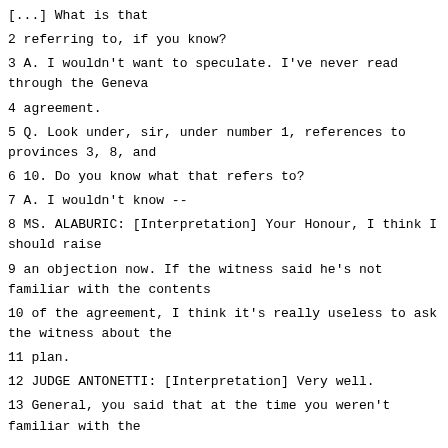[...] What is that
2 referring to, if you know?
3 A. I wouldn't want to speculate. I've never read through the Geneva
4 agreement.
5 Q. Look under, sir, under number 1, references to provinces 3, 8, and
6 10. Do you know what that refers to?
7 A. I wouldn't know --
8 MS. ALABURIC: [Interpretation] Your Honour, I think I should raise
9 an objection now. If the witness said he's not familiar with the contents
10 of the agreement, I think it's really useless to ask the witness about the
11 plan.
12 JUDGE ANTONETTI: [Interpretation] Very well.
13 General, you said that at the time you weren't familiar with the